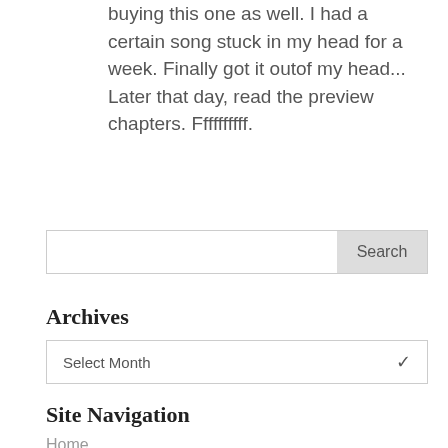buying this one as well. I had a certain song stuck in my head for a week. Finally got it outof my head... Later that day, read the preview chapters. Ffffffffff.
Search
Archives
Select Month
Site Navigation
Home
Who is Eri?